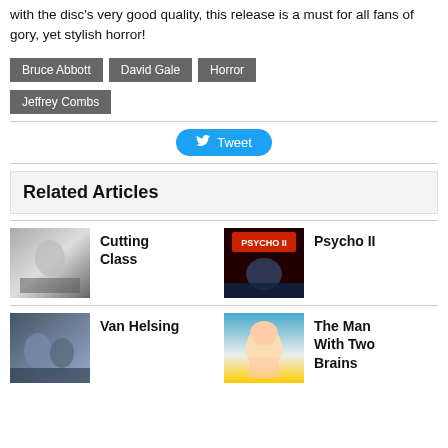with the disc's very good quality, this release is a must for all fans of gory, yet stylish horror!
Bruce Abbott
David Gale
Horror
Jeffrey Combs
Tweet
Related Articles
Cutting Class
Psycho II
Van Helsing
The Man With Two Brains